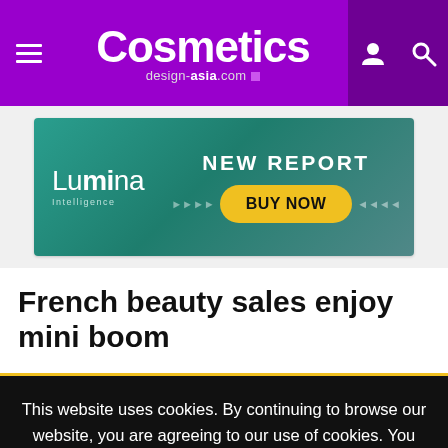Cosmetics design-asia.com
[Figure (screenshot): Lumina Intelligence advertisement banner with 'NEW REPORT' text and a yellow 'BUY NOW' button on teal background]
French beauty sales enjoy mini boom
This website uses cookies. By continuing to browse our website, you are agreeing to our use of cookies. You can learn more about cookies by visiting our privacy & cookies policy page.
I Agree